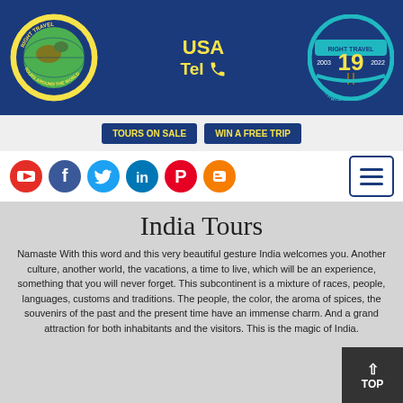[Figure (logo): Right Travel globe logo with text 'Tours Around The World']
USA
Tel
[Figure (logo): Right Travel 19th Anniversary badge, 2003-2022]
TOURS ON SALE   WIN A FREE TRIP
[Figure (other): Social media icons: YouTube, Facebook, Twitter, LinkedIn, Pinterest, Blogger]
[Figure (other): Hamburger menu button]
India Tours
Namaste With this word and this very beautiful gesture India welcomes you. Another culture, another world, the vacations, a time to live, which will be an experience, something that you will never forget. This subcontinent is a mixture of races, people, languages, customs and traditions. The people, the color, the aroma of spices, the souvenirs of the past and the present time have an immense charm. And a grand attraction for both inhabitants and the visitors. This is the magic of India.